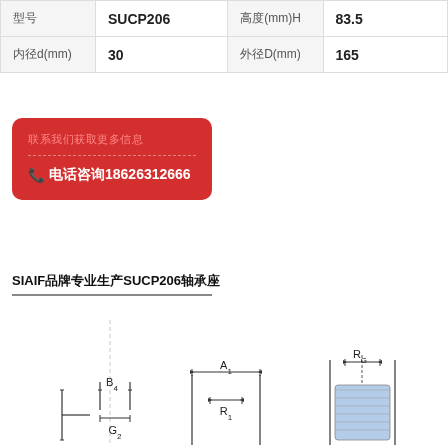| 属性名 | 值 | 属性名 | 值 |
| --- | --- | --- | --- |
| 型号 | SUCP206 | 高度(mm)H | 83.5 |
| 内径d(mm) | 30 | 外径D(mm) | 165 |
联系我们获取更多信息
电话咨询：18626312666
SIAIF品牌专业生产SUCP206轴承座
[Figure (engineering-diagram): Technical cross-section drawing of a pillow block bearing unit showing dimensions B4, G2, A1, R1, and RG with front and side sectional views]